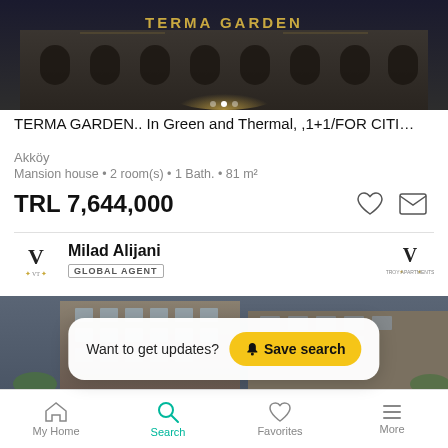[Figure (photo): Building facade of Terma Garden with arched windows and golden signage on dark background]
TERMA GARDEN.. In Green and Thermal, ,1+1/FOR CITI…
Akköy
Mansion house • 2 room(s) • 1 Bath. • 81 m²
TRL 7,644,000
Milad Alijani
GLOBAL AGENT
[Figure (photo): Multi-story apartment building exterior with balconies, classical architecture style]
Want to get updates?
Save search
My Home  Search  Favorites  More